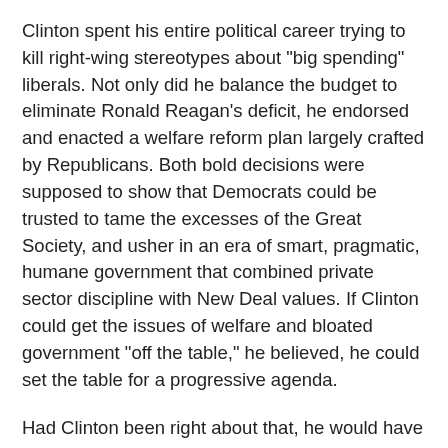Clinton spent his entire political career trying to kill right-wing stereotypes about "big spending" liberals. Not only did he balance the budget to eliminate Ronald Reagan's deficit, he endorsed and enacted a welfare reform plan largely crafted by Republicans. Both bold decisions were supposed to show that Democrats could be trusted to tame the excesses of the Great Society, and usher in an era of smart, pragmatic, humane government that combined private sector discipline with New Deal values. If Clinton could get the issues of welfare and bloated government "off the table," he believed, he could set the table for a progressive agenda.
Had Clinton been right about that, he would have been able to say: “Our fiscal house is in order. ...
Instead, the conciliating Clinton met increasingly savage political opposition ... (a)nd right now, Republicans in Congress are on the verge of sending us back to the 19th. To the extent that